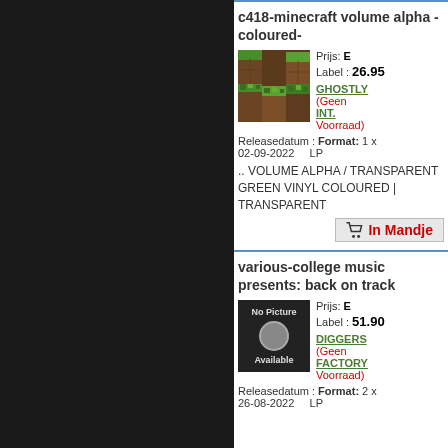c418-minecraft volume alpha -coloured-
Prijs: E 26.95
Label : GHOSTLY INT.
(Geen Voorraad)
Releasedatum : 02-09-2022  Format: 1 x LP
.. VOLUME ALPHA / TRANSPARENT GREEN VINYL COLOURED | TRANSPARENT
In Mandje
various-college music presents: back on track
Prijs: E 51.90
Label : DIGGERS FACTORY
(Geen Voorraad)
Releasedatum : 26-08-2022  Format: 2 x LP